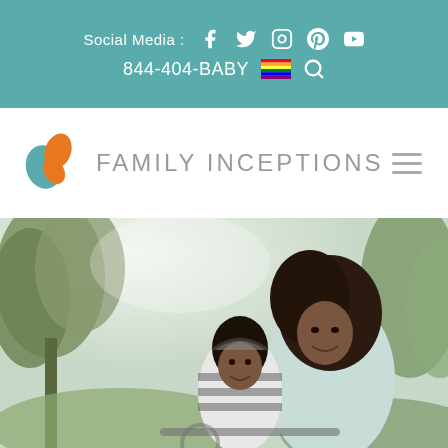Social Media: [Facebook] [Twitter] [Instagram] [Pinterest] [YouTube] 844-404-BABY [rainbow flag] [search]
[Figure (logo): Family Inceptions logo with teal and orange plant/leaf icon and text FAMILY INCEPTIONS in grey]
[Figure (photo): Photo of a smiling Black woman and young girl (child) outdoors with trees and bright sky in the background, appearing to be on a bicycle]